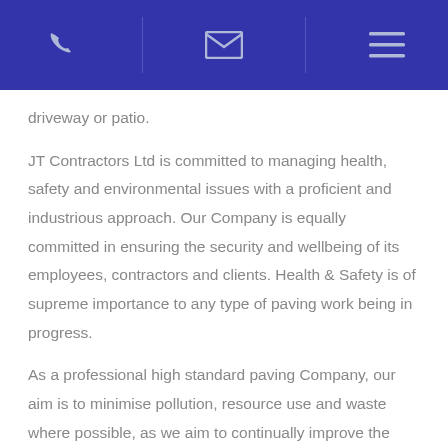[phone icon] | [mail icon] | [menu icon]
driveway or patio.
JT Contractors Ltd is committed to managing health, safety and environmental issues with a proficient and industrious approach. Our Company is equally committed in ensuring the security and wellbeing of its employees, contractors and clients. Health & Safety is of supreme importance to any type of paving work being in progress.
As a professional high standard paving Company, our aim is to minimise pollution, resource use and waste where possible, as we aim to continually improve the performance of all areas of the company as much as possible.